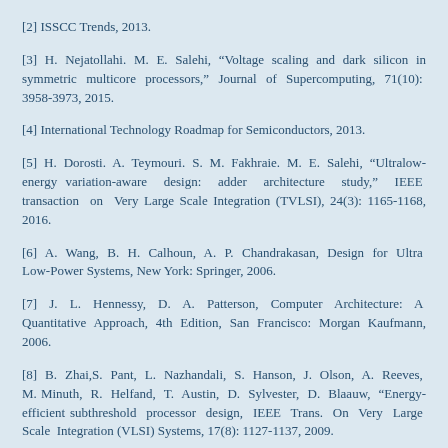[2] ISSCC Trends, 2013.
[3] H. Nejatollahi. M. E. Salehi, “Voltage scaling and dark silicon in symmetric multicore processors,” Journal of Supercomputing, 71(10): 3958-3973, 2015.
[4] International Technology Roadmap for Semiconductors, 2013.
[5] H. Dorosti. A. Teymouri. S. M. Fakhraie. M. E. Salehi, “Ultralow-energy variation-aware design: adder architecture study,” IEEE transaction on Very Large Scale Integration (TVLSI), 24(3): 1165-1168, 2016.
[6] A. Wang, B. H. Calhoun, A. P. Chandrakasan, Design for Ultra Low-Power Systems, New York: Springer, 2006.
[7] J. L. Hennessy, D. A. Patterson, Computer Architecture: A Quantitative Approach, 4th Edition, San Francisco: Morgan Kaufmann, 2006.
[8] B. Zhai,S. Pant, L. Nazhandali, S. Hanson, J. Olson, A. Reeves, M. Minuth, R. Helfand, T. Austin, D. Sylvester, D. Blaauw, “Energy-efficient subthreshold processor design, IEEE Trans. On Very Large Scale Integration (VLSI) Systems, 17(8): 1127-1137, 2009.
[9] J. Constantin, A. Dogan, O. Andersson, P. Meinerzhagen, J. Rodrigues, D. Atienza, A. Burg, "TamaRISC-CS: An ultra-low-power application-specific processor for compressed sensing," in Proc. 2012